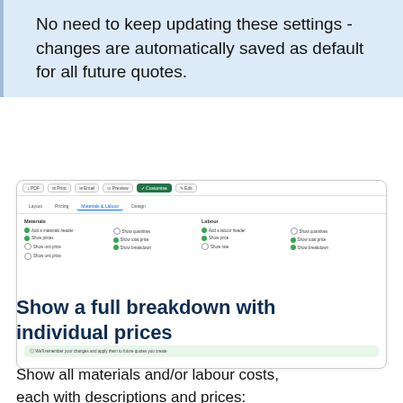No need to keep updating these settings - changes are automatically saved as default for all future quotes.
[Figure (screenshot): A software UI screenshot showing a settings panel with tabs (Layout, Pricing, Materials & Labour, Design), two sections (Materials and Labour) with checkboxes for options like Add a materials header, Show prices, Show total price, Show breakdown, Add a labour header, Show quantities, Show total price, Show rate, Show breakdown. A green info bar at the bottom reads: We'll remember your changes and apply them to future quotes you create.]
Show a full breakdown with individual prices
Show all materials and/or labour costs, each with descriptions and prices: